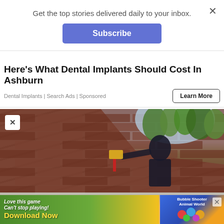Get the top stories delivered daily to your inbox.
Subscribe
Here's What Dental Implants Should Cost In Ashburn
Dental Implants | Search Ads | Sponsored
Learn More
[Figure (photo): Man on roof using power tool on gutters, with trees in background]
[Figure (infographic): Mobile game advertisement: Love this game Can't stop playing! Download Now — Bubble Shooter Animal World]